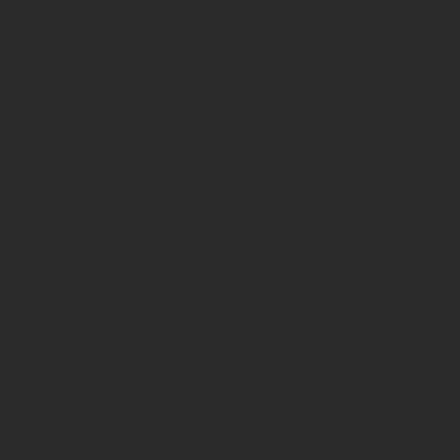I got my ex back to me within 48 to share my testimony with ev powerful, he can restore any br benjamin carter 171@ g mail. co
Reply
Williams Mark  November 10, 20
I'm Williams Mark, i was diagno doctor that there's no possible c medications lamivudine(Epivir) . was posted so many people talk about him on how he uses herb told him my problems, He sent m for a check-up and I was totally special diet when taking the med you can simply contact him via him on: +2349134987375.
You can visit his website for more
Reply